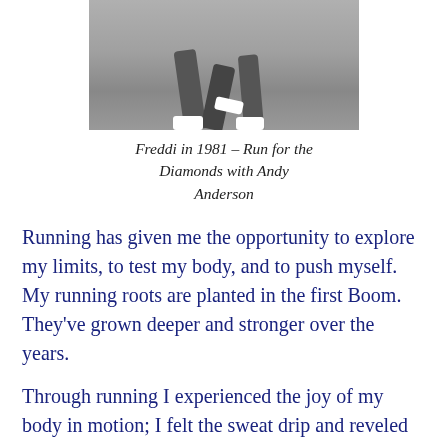[Figure (photo): Black and white photograph of a runner (Freddi) in motion, showing legs and shoes from approximately knee down, running on a road or track.]
Freddi in 1981 – Run for the Diamonds with Andy Anderson
Running has given me the opportunity to explore my limits, to test my body, and to push myself. My running roots are planted in the first Boom. They've grown deeper and stronger over the years.
Through running I experienced the joy of my body in motion; I felt the sweat drip and reveled